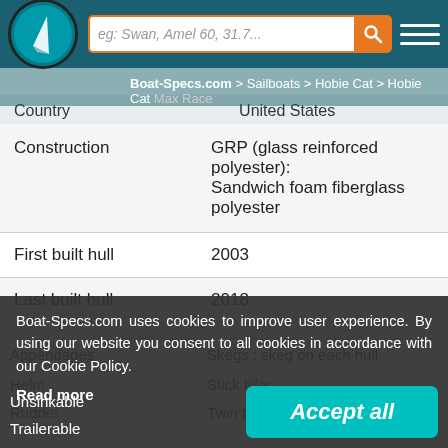Boat-Specs.com > Sailboats > Hobie Cat > Hobie Cat Max Race
|  |  |
| --- | --- |
| Country | United States |
| Construction | GRP (glass reinforced polyester): Sandwich foam fiberglass polyester |
| First built hull | 2003 |
| Last built hull | 2018 |
|  |  |
| --- | --- |
| Appendages | Skegs : skeg on each hull |
| Helm | Stick tiller |
| Rudder | Twin transom hung rudder |
| Unsinkable |  |
| Trailerable | Yes |
Boat-Specs.com uses cookies to improve user experience. By using our website you consent to all cookies in accordance with our Cookie Policy.